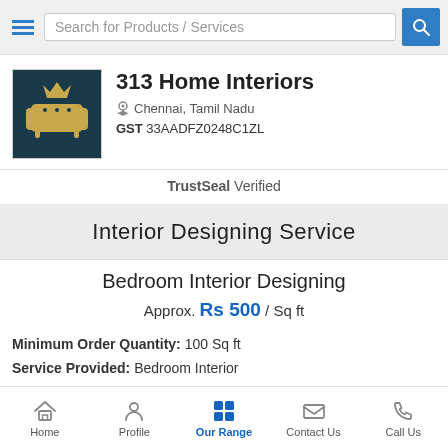[Figure (screenshot): Search bar with hamburger menu icon, search placeholder text, and blue search button]
[Figure (logo): 313 Home Interiors logo — sofa/couch icon on dark teal background with gold crown]
313 Home Interiors
Chennai, Tamil Nadu
GST 33AADFZ0248C1ZL
TrustSeal Verified
Interior Designing Service
Bedroom Interior Designing
Approx. Rs 500 / Sq ft
Minimum Order Quantity: 100 Sq ft
Service Provided: Bedroom Interior
Home  Profile  Our Range  Contact Us  Call Us